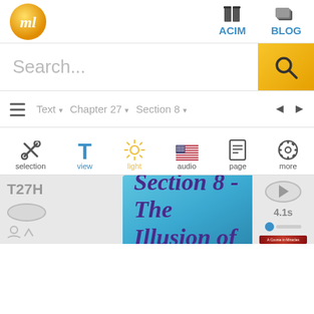[Figure (screenshot): Mobile app navigation bar with ml logo (gold circle), ACIM and BLOG links with icons]
Search...
Text▾  Chapter 27▾  Section 8▾  ◄  ►
selection  view  light  audio  page  more
T27H
Section 8 - The Illusion of